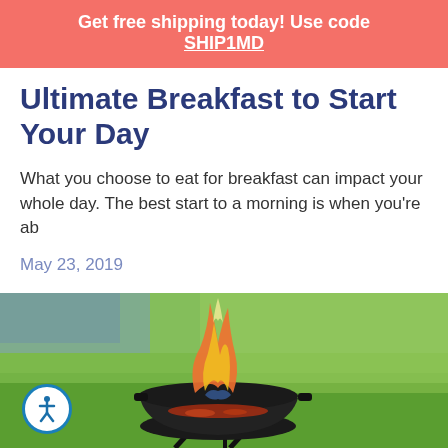Get free shipping today! Use code SHIP1MD
Ultimate Breakfast to Start Your Day
What you choose to eat for breakfast can impact your whole day. The best start to a morning is when you're ab
May 23, 2019
[Figure (photo): A black kettle BBQ grill with flames and burning charcoal, set on a green lawn background]